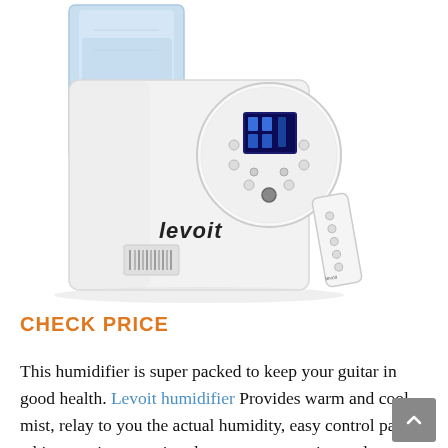[Figure (photo): Levoit humidifier product photo showing a white humidifier with blue water tank, circular control panel with LCD display and buttons, and a small white remote control. The brand name 'levoit' is visible on the front.]
CHECK PRICE
This humidifier is super packed to keep your guitar in good health. Levoit humidifier Provides warm and cool mist, relay to you the actual humidity, easy control panel, whisper quiet operation, large water capacity, and automatic adjustment to suitable